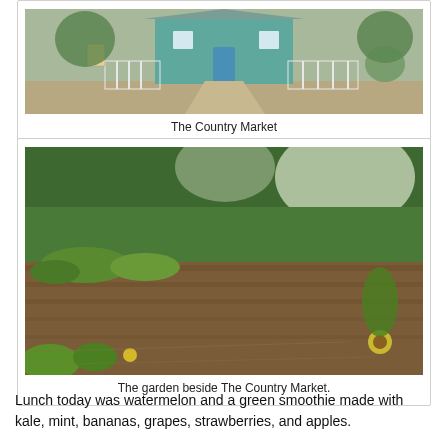[Figure (photo): Partial view of The Country Market building — a small teal/turquoise house with a white picket fence and gravel path, set in a yard with trees.]
The Country Market
[Figure (photo): A garden with rows of planted crops and soil, surrounded by large green trees. Garden beds are visible with various plants and sunflowers near the front.]
The garden beside The Country Market.
Lunch today was watermelon and a green smoothie made with kale, mint, bananas, grapes, strawberries, and apples.